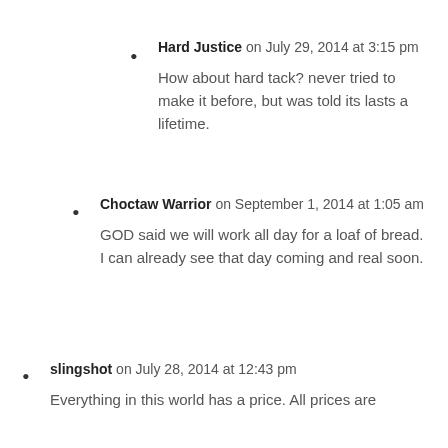Hard Justice on July 29, 2014 at 3:15 pm
How about hard tack? never tried to make it before, but was told its lasts a lifetime.
Choctaw Warrior on September 1, 2014 at 1:05 am
GOD said we will work all day for a loaf of bread. I can already see that day coming and real soon.
slingshot on July 28, 2014 at 12:43 pm
Everything in this world has a price. All prices are